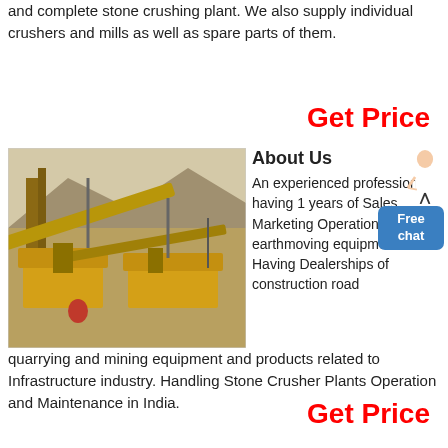and complete stone crushing plant. We also supply individual crushers and mills as well as spare parts of them.
Get Price
[Figure (photo): Aerial view of a stone crushing plant with yellow heavy machinery, conveyors, and industrial equipment in a quarry setting]
About Us
An experienced professional having 1 years of Sales Marketing Operation of heavy earthmoving equipment. Having Dealerships of construction road quarrying and mining equipment and products related to Infrastructure industry. Handling Stone Crusher Plants Operation and Maintenance in India.
Get Price